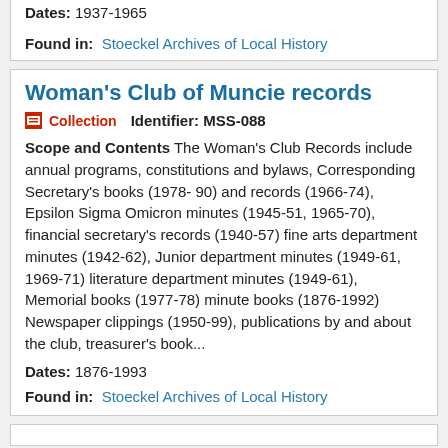Dates: 1937-1965
Found in: Stoeckel Archives of Local History
Woman's Club of Muncie records
Collection  Identifier: MSS-088
Scope and Contents The Woman's Club Records include annual programs, constitutions and bylaws, Corresponding Secretary's books (1978- 90) and records (1966-74), Epsilon Sigma Omicron minutes (1945-51, 1965-70), financial secretary's records (1940-57) fine arts department minutes (1942-62), Junior department minutes (1949-61, 1969-71) literature department minutes (1949-61), Memorial books (1977-78) minute books (1876-1992) Newspaper clippings (1950-99), publications by and about the club, treasurer's book...
Dates: 1876-1993
Found in: Stoeckel Archives of Local History